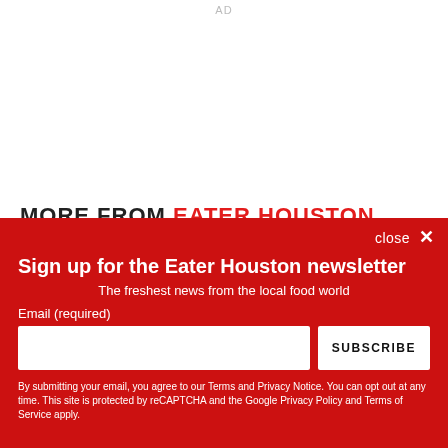AD
MORE FROM EATER HOUSTON
close ✕
Sign up for the Eater Houston newsletter
The freshest news from the local food world
Email (required)
SUBSCRIBE
By submitting your email, you agree to our Terms and Privacy Notice. You can opt out at any time. This site is protected by reCAPTCHA and the Google Privacy Policy and Terms of Service apply.